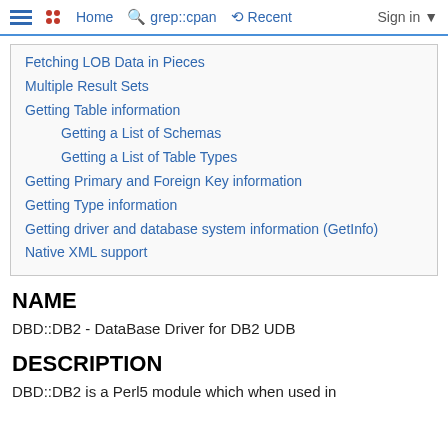Home grep::cpan Recent Sign in
Fetching LOB Data in Pieces
Multiple Result Sets
Getting Table information
Getting a List of Schemas
Getting a List of Table Types
Getting Primary and Foreign Key information
Getting Type information
Getting driver and database system information (GetInfo)
Native XML support
NAME
DBD::DB2 - DataBase Driver for DB2 UDB
DESCRIPTION
DBD::DB2 is a Perl5 module which when used in